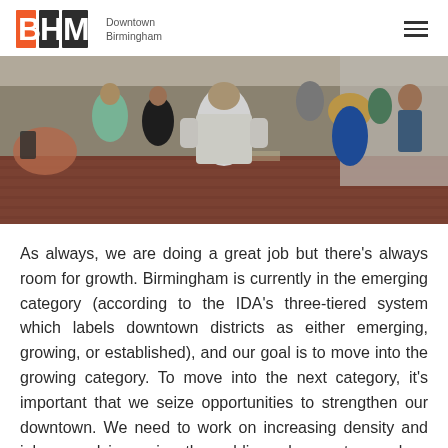BHM Downtown Birmingham
[Figure (photo): Outdoor street scene with a group of people standing on a brick sidewalk in front of a building. A man in a white shirt faces away from the camera toward a speaker, with onlookers and a woman with blonde hair visible.]
As always, we are doing a great job but there’s always room for growth. Birmingham is currently in the emerging category (according to the IDA’s three-tiered system which labels downtown districts as either emerging, growing, or established), and our goal is to move into the growing category. To move into the next category, it’s important that we seize opportunities to strengthen our downtown. We need to work on increasing density and jobs – and improving the public realm creates a place where